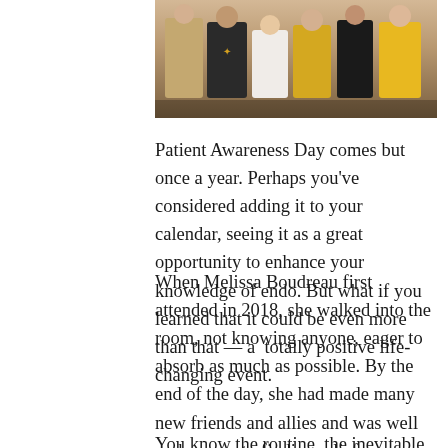[Figure (photo): Group photo of several people wearing yellow and black clothing, some with an endometriosis awareness ribbon logo on a shirt, posing together at an event.]
Patient Awareness Day comes but once a year. Perhaps you've considered adding it to your calendar, seeing it as a great opportunity to enhance your knowledge of endo. But what if you learned that it could be even more than that — a  totally positive life-changing event.
When Melissa Boudreau first attended in 2018, she walked into the room, not knowing anyone, eager to absorb as much as possible. By the end of the day, she had made many new friends and allies and was well on her way to finding relief.
You know the routine, the inevitable missed